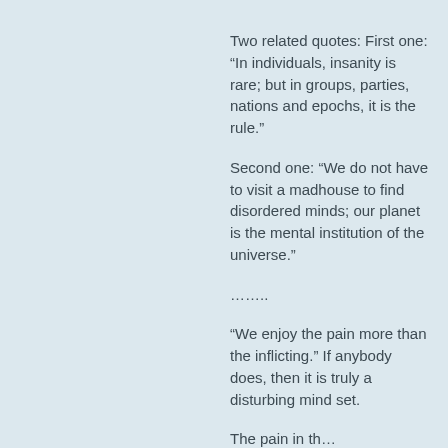Two related quotes: First one: “In individuals, insanity is rare; but in groups, parties, nations and epochs, it is the rule.”
Second one: “We do not have to visit a madhouse to find disordered minds; our planet is the mental institution of the universe.”
……..
“We enjoy the pain more than the inflicting.” If anybody does, then it is truly a disturbing mind set.
The pain in the...